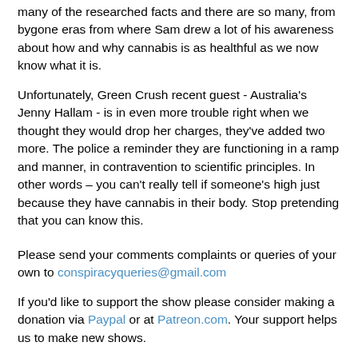many of the researched facts and there are so many, from bygone eras from where Sam drew a lot of his awareness about how and why cannabis is as healthful as we now know what it is.
Unfortunately, Green Crush recent guest - Australia's Jenny Hallam - is in even more trouble right when we thought they would drop her charges, they've added two more. The police a reminder they are functioning in a ramp and manner, in contravention to scientific principles. In other words – you can't really tell if someone's high just because they have cannabis in their body. Stop pretending that you can know this.
Please send your comments complaints or queries of your own to conspiracyqueries@gmail.com
If you'd like to support the show please consider making a donation via Paypal or at Patreon.com. Your support helps us to make new shows.
Follow Conspiracy Queries on Twitter @Con_Queries and Facebook